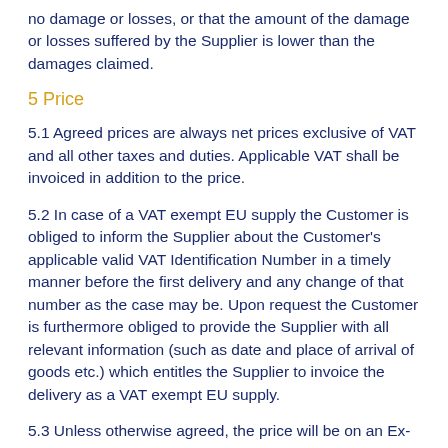no damage or losses, or that the amount of the damage or losses suffered by the Supplier is lower than the damages claimed.
5 Price
5.1 Agreed prices are always net prices exclusive of VAT and all other taxes and duties. Applicable VAT shall be invoiced in addition to the price.
5.2 In case of a VAT exempt EU supply the Customer is obliged to inform the Supplier about the Customer's applicable valid VAT Identification Number in a timely manner before the first delivery and any change of that number as the case may be. Upon request the Customer is furthermore obliged to provide the Supplier with all relevant information (such as date and place of arrival of goods etc.) which entitles the Supplier to invoice the delivery as a VAT exempt EU supply.
5.3 Unless otherwise agreed, the price will be on an Ex-Works (Incoterms® 2020) basis.